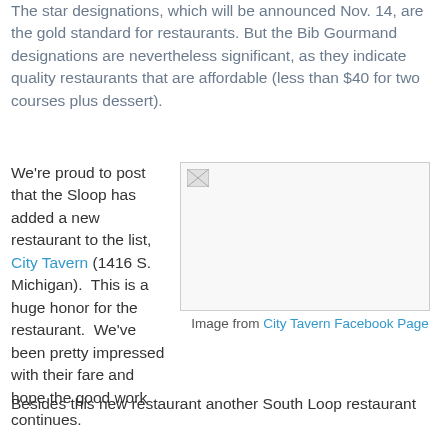The star designations, which will be announced Nov. 14, are the gold standard for restaurants. But the Bib Gourmand designations are nevertheless significant, as they indicate quality restaurants that are affordable (less than $40 for two courses plus dessert).
We're proud to post that the Sloop has added a new restaurant to the list, City Tavern (1416 S. Michigan).  This is a huge honor for the restaurant.  We've been pretty impressed with their fare and hope the good work continues.
[Figure (photo): Placeholder image (broken/unloaded) from City Tavern Facebook Page]
Image from City Tavern Facebook Page
Besides this new restaurant another South Loop restaurant